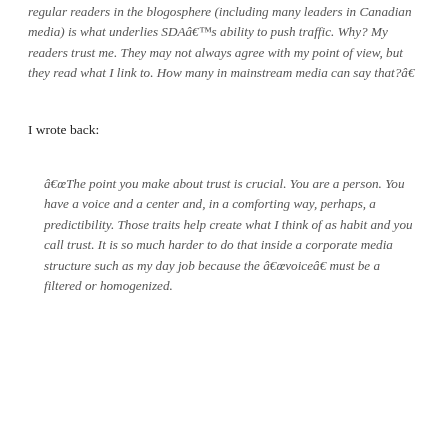regular readers in the blogosphere (including many leaders in Canadian media) is what underlies SDAâs ability to push traffic. Why? My readers trust me. They may not always agree with my point of view, but they read what I link to. How many in mainstream media can say that?”
I wrote back:
“The point you make about trust is crucial. You are a person. You have a voice and a center and, in a comforting way, perhaps, a predictibility. Those traits help create what I think of as habit and you call trust. It is so much harder to do that inside a corporate media structure such as my day job because the âvoiceâ must be a filtered or homogenized.